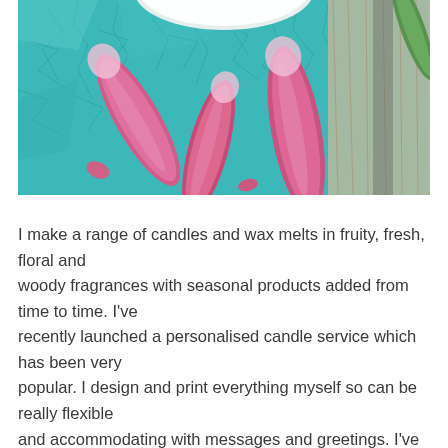[Figure (photo): Close-up photograph of pink lily flower petals scattered on a cracked turquoise painted surface, with a partial white circular object (candle or dish) visible at the top.]
I make a range of candles and wax melts in fruity, fresh, floral and woody fragrances with seasonal products added from time to time. I've recently launched a personalised candle service which has been very popular. I design and print everything myself so can be really flexible and accommodating with messages and greetings. I've made candles for weddings, retirements, birthdays, anniversaries, new mums, now